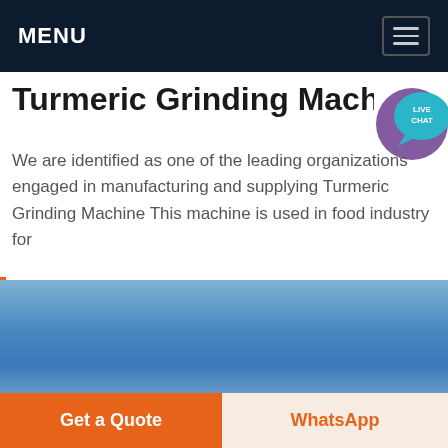MENU
Turmeric Grinding Machine
[Figure (illustration): Live Chat speech bubble icon in teal/purple colors]
We are identified as one of the leading organizations engaged in manufacturing and supplying Turmeric Grinding Machine This machine is used in food industry for grinding turmeric To manufacture this
[Figure (other): Get price yellow button overlay]
[Figure (photo): Blue gradient sky photo used as product image background]
[Figure (other): Get a Quote orange button and WhatsApp button at bottom]